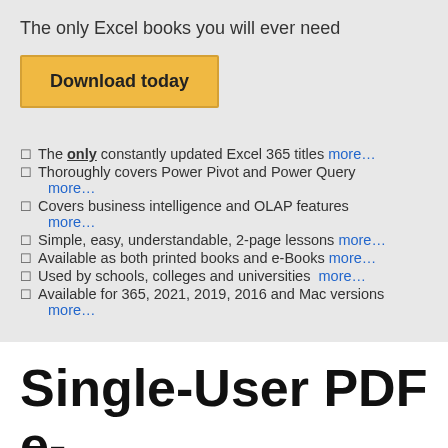The only Excel books you will ever need
Download today
The only constantly updated Excel 365 titles more…
Thoroughly covers Power Pivot and Power Query more…
Covers business intelligence and OLAP features more…
Simple, easy, understandable, 2-page lessons more…
Available as both printed books and e-Books more…
Used by schools, colleges and universities more…
Available for 365, 2021, 2019, 2016 and Mac versions more…
Single-User PDF e-